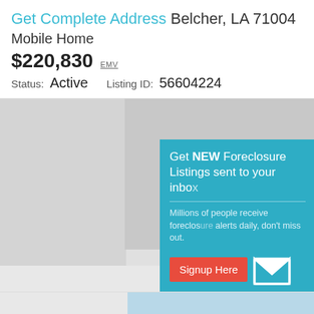Get Complete Address Belcher, LA 71004
Mobile Home
$220,830 EMV
Status: Active    Listing ID: 56604224
[Figure (screenshot): Property listing page screenshot showing a foreclosure listing with a popup overlay prompting users to sign up for foreclosure listings via email. The popup says 'Get NEW Foreclosure Listings sent to your inbox' with a Signup Here button and 'No Thanks | Remind Me Later' links. Below is a partial view of a property photo showing a mobile home.]